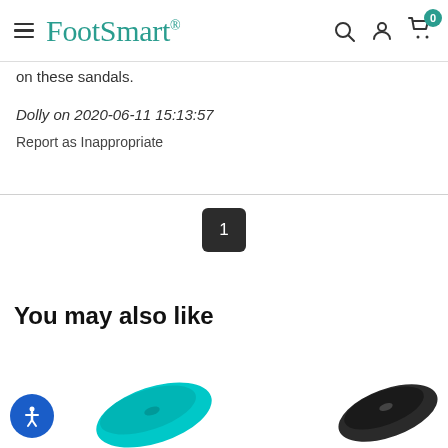FootSmart
on these sandals.
Dolly on 2020-06-11 15:13:57
Report as Inappropriate
1
You may also like
[Figure (photo): Cyan/turquoise shoe insole product image on left side]
[Figure (photo): Black shoe insole product image on right side]